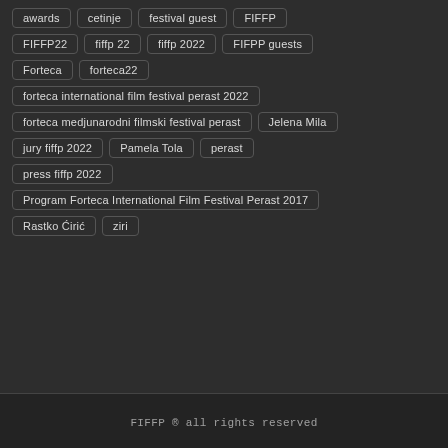awards
cetinje
festival guest
FIFFP
FIFFP22
fiffp 22
fiffp 2022
FIFPP guests
Forteca
forteca22
forteca international film festival perast 2022
forteca medjunarodni filmski festival perast
Jelena Mila
jury fiffp 2022
Pamela Tola
perast
press fiffp 2022
Program Forteca International Film Festival Perast 2017
Rastko Ćirić
ziri
FIFFP ® all rights reserved